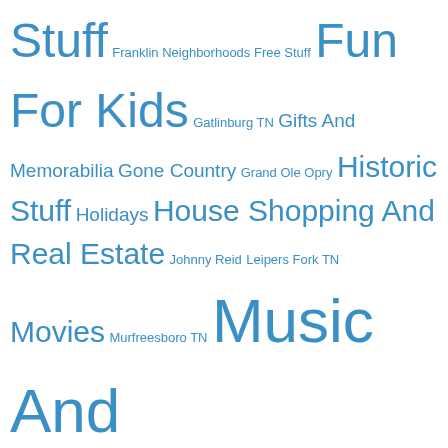Stuff Franklin Neighborhoods Free Stuff Fun For Kids Gatlinburg TN Gifts And Memorabilia Gone Country Grand Ole Opry Historic Stuff Holidays House Shopping And Real Estate Johnny Reid Leipers Fork TN Movies Murfreesboro TN Music And Songwriters Nashville Fun Stuff Nashville Star Parks Photos Of Franklin And Nashville Pizza Predators Hockey Reality TV In Tennessee Restaurant Reviews Roads And Driving Schools Shawn Mullins Sports Spring Hill TN Strange And Funny Water Fun Wildhorse Saloon